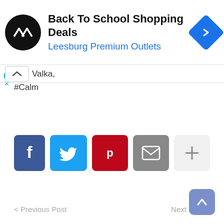[Figure (screenshot): Ad banner for Back To School Shopping Deals at Leesburg Premium Outlets with logo, title, subtitle and navigation diamond icon]
Valka,
#Calm
[Figure (infographic): Social sharing buttons: Facebook (blue), Twitter (light blue), Pinterest (red), Email (gray), More (light gray)]
< Previous Post
Next Post >